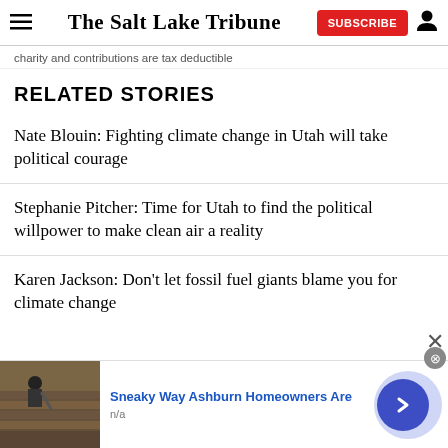The Salt Lake Tribune
charity and contributions are tax deductible
RELATED STORIES
Nate Blouin: Fighting climate change in Utah will take political courage
Stephanie Pitcher: Time for Utah to find the political willpower to make clean air a reality
Karen Jackson: Don’t let fossil fuel giants blame you for climate change
[Figure (screenshot): Advertisement banner: Sneaky Way Ashburn Homeowners Are — n/a — with image of person on a roof and a blue arrow button]